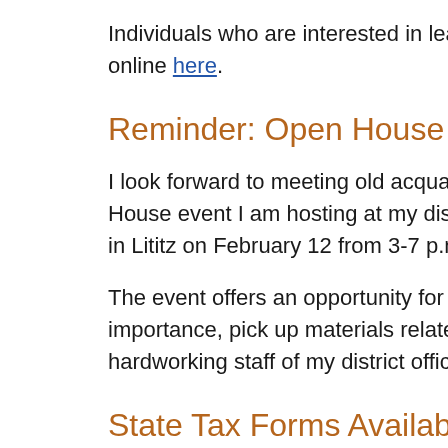Individuals who are interested in learning more about the p… online here.
Reminder: Open House Scheduled for F…
I look forward to meeting old acquaintances and new faces … House event I am hosting at my district office located at 30… in Lititz on February 12 from 3-7 p.m.
The event offers an opportunity for local residents to discus… importance, pick up materials related to state government… hardworking staff of my district office. I hope to see you the…
State Tax Forms Available Now
Local residents can get a head start on tax filing by picking … 2018 tax forms at my district office in Lititz. The primary sta… PA-40 Income Tax booklet – is available at my office now, as…